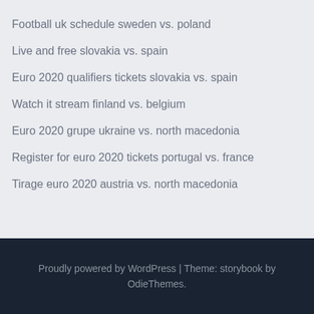Football uk schedule sweden vs. poland
Live and free slovakia vs. spain
Euro 2020 qualifiers tickets slovakia vs. spain
Watch it stream finland vs. belgium
Euro 2020 grupe ukraine vs. north macedonia
Register for euro 2020 tickets portugal vs. france
Tirage euro 2020 austria vs. north macedonia
Proudly powered by WordPress | Theme: storybook by OdieThemes.